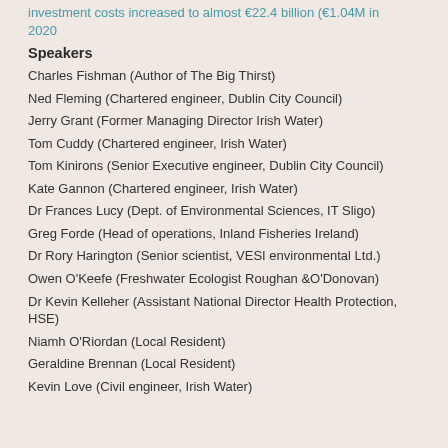investment costs increased to almost €22.4 billion (€1.04M in 2020
Speakers
Charles Fishman (Author of The Big Thirst)
Ned Fleming (Chartered engineer, Dublin City Council)
Jerry Grant (Former Managing Director Irish Water)
Tom Cuddy (Chartered engineer, Irish Water)
Tom Kinirons (Senior Executive engineer, Dublin City Council)
Kate Gannon (Chartered engineer, Irish Water)
Dr Frances Lucy (Dept. of Environmental Sciences, IT Sligo)
Greg Forde (Head of operations, Inland Fisheries Ireland)
Dr Rory Harington (Senior scientist, VESI environmental Ltd.)
Owen O'Keefe (Freshwater Ecologist Roughan &O'Donovan)
Dr Kevin Kelleher (Assistant National Director Health Protection, HSE)
Niamh O'Riordan (Local Resident)
Geraldine Brennan (Local Resident)
Kevin Love (Civil engineer, Irish Water)